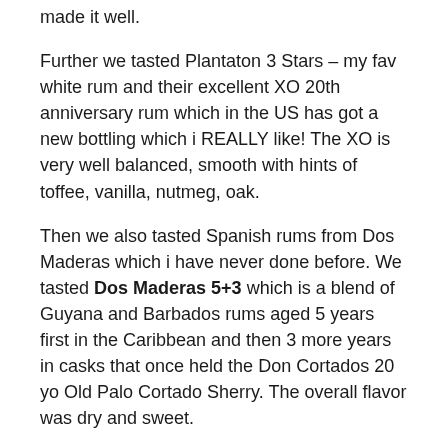made it well.
Further we tasted Plantaton 3 Stars – my fav white rum and their excellent XO 20th anniversary rum which in the US has got a new bottling which i REALLY like! The XO is very well balanced, smooth with hints of toffee, vanilla, nutmeg, oak.
Then we also tasted Spanish rums from Dos Maderas which i have never done before. We tasted Dos Maderas 5+3 which is a blend of Guyana and Barbados rums aged 5 years first in the Caribbean and then 3 more years in casks that once held the Don Cortados 20 yo Old Palo Cortado Sherry. The overall flavor was dry and sweet.
Dos Maderas PX s rum 5+3 wich is aged for 2 years in Don Guido, a 20 year aged Pedro Ximenez sherry. It as sweet, thick with a pronounced sherry flavor.